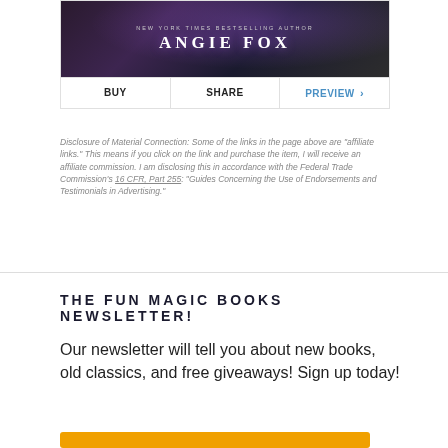[Figure (illustration): Book cover widget showing 'New York Times Bestselling Author Angie Fox' with dark purple/black background, with BUY, SHARE, and PREVIEW action buttons below]
Disclosure of Material Connection: Some of the links in the page above are "affiliate links." This means if you click on the link and purchase the item, I will receive an affiliate commission. I am disclosing this in accordance with the Federal Trade Commission's 16 CFR, Part 255: "Guides Concerning the Use of Endorsements and Testimonials in Advertising."
THE FUN MAGIC BOOKS NEWSLETTER!
Our newsletter will tell you about new books, old classics, and free giveaways! Sign up today!